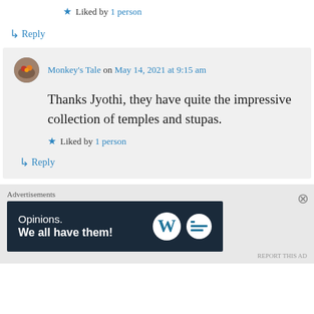Liked by 1 person
↳ Reply
Monkey's Tale on May 14, 2021 at 9:15 am
Thanks Jyothi, they have quite the impressive collection of temples and stupas.
Liked by 1 person
↳ Reply
Advertisements
[Figure (other): WordPress Opinions advertisement banner with text 'Opinions. We all have them!' and WordPress and Daily Post logos on dark navy background]